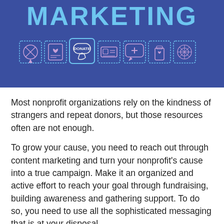[Figure (infographic): Dark blue banner with large bold cyan text reading 'MARKETING' and a row of nonprofit/charity related line icons below it (no-smoking sign, heart document, donate button with hand cursor, ID card, chat bubble with cross, medicine bottle with heart, decorative snowflake/mandala, ribbon, hand with heart on screen)]
Most nonprofit organizations rely on the kindness of strangers and repeat donors, but those resources often are not enough.
To grow your cause, you need to reach out through content marketing and turn your nonprofit's cause into a true campaign. Make it an organized and active effort to reach your goal through fundraising, building awareness and gathering support. To do so, you need to use all the sophisticated messaging that is at your disposal.